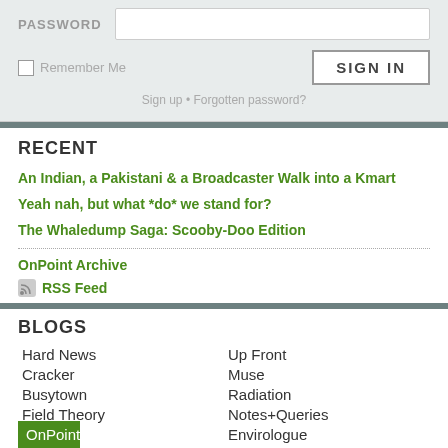[Figure (screenshot): Login form partial: PASSWORD label with input field]
Remember Me
SIGN IN
Sign up • Forgotten password?
RECENT
An Indian, a Pakistani & a Broadcaster Walk into a Kmart
Yeah nah, but what *do* we stand for?
The Whaledump Saga: Scooby-Doo Edition
OnPoint Archive
RSS Feed
BLOGS
Hard News
Up Front
Cracker
Muse
Busytown
Radiation
Field Theory
Notes+Queries
OnPoint
Envirologue
Southerly
Polity